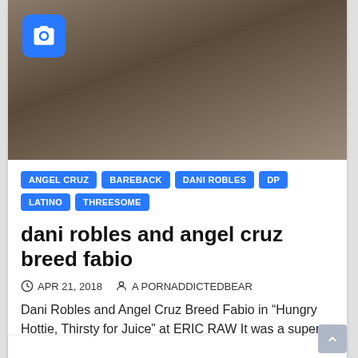[Figure (photo): Adult content photo with camera icon overlay in blue square]
ANGEL CRUZ
BAREBACK
DANI ROBLES
DP
LATINO
THREESOME
dani robles and angel cruz breed fabio
APR 21, 2018   A PORNADDICTEDBEAR
Dani Robles and Angel Cruz Breed Fabio in “Hungry Hottie, Thirsty for Juice” at ERIC RAW It was a super hot Saturday afternoon and Angel’s hungry ass was On Fire!...